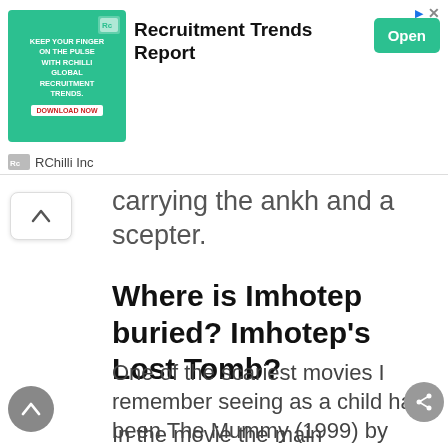[Figure (other): Advertisement banner for RChilli Inc 'Recruitment Trends Report' with green graphic, bold title, and Open button]
carrying the ankh and a scepter.
Where is Imhotep buried? Imhotep's Lost Tomb?
One of the scariest movies I remember seeing as a child has been The Mummy (1999) by Stephen Sommers.
In the movie the main